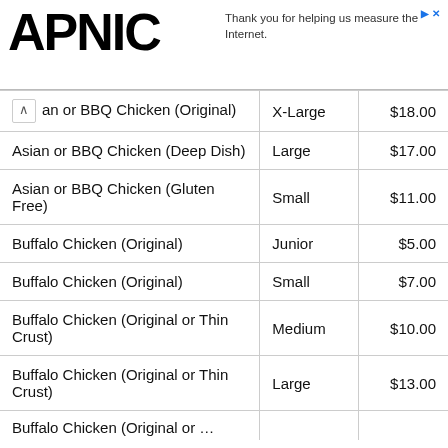APNIC — Thank you for helping us measure the Internet.
| Item | Size | Price |
| --- | --- | --- |
| an or BBQ Chicken (Original) | X-Large | $18.00 |
| Asian or BBQ Chicken (Deep Dish) | Large | $17.00 |
| Asian or BBQ Chicken (Gluten Free) | Small | $11.00 |
| Buffalo Chicken (Original) | Junior | $5.00 |
| Buffalo Chicken (Original) | Small | $7.00 |
| Buffalo Chicken (Original or Thin Crust) | Medium | $10.00 |
| Buffalo Chicken (Original or Thin Crust) | Large | $13.00 |
| Buffalo Chicken (Original or …) | … | $… |